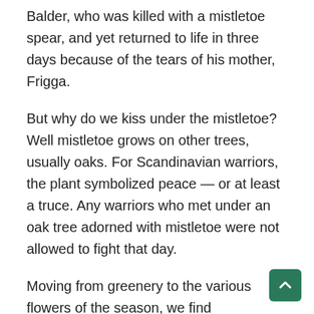Balder, who was killed with a mistletoe spear, and yet returned to life in three days because of the tears of his mother, Frigga.
But why do we kiss under the mistletoe? Well mistletoe grows on other trees, usually oaks. For Scandinavian warriors, the plant symbolized peace — or at least a truce. Any warriors who met under an oak tree adorned with mistletoe were not allowed to fight that day.
Moving from greenery to the various flowers of the season, we find poinsettias, called Noche Buena (Christmas Eve) in Mexico. While the Aztecs prized the flower, a 16th century legend of a poor girl with